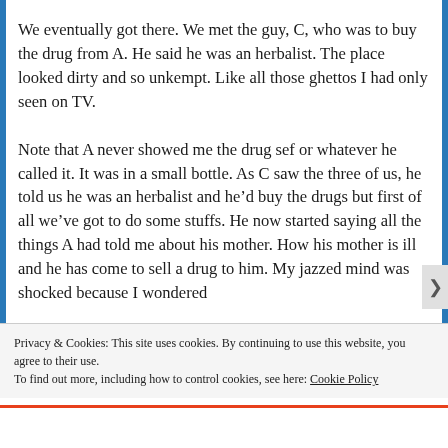We eventually got there. We met the guy, C, who was to buy the drug from A. He said he was an herbalist. The place looked dirty and so unkempt. Like all those ghettos I had only seen on TV.

Note that A never showed me the drug sef or whatever he called it. It was in a small bottle. As C saw the three of us, he told us he was an herbalist and he'd buy the drugs but first of all we've got to do some stuffs. He now started saying all the things A had told me about his mother. How his mother is ill and he has come to sell a drug to him. My jazzed mind was shocked because I wondered
Privacy & Cookies: This site uses cookies. By continuing to use this website, you agree to their use.
To find out more, including how to control cookies, see here: Cookie Policy